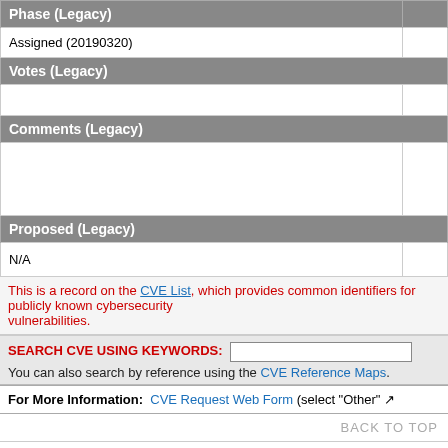| Phase (Legacy) |  |
| --- | --- |
| Assigned (20190320) |  |
| Votes (Legacy) |  |
| --- | --- |
|  |  |
| Comments (Legacy) |  |
| --- | --- |
|  |  |
| Proposed (Legacy) |  |
| --- | --- |
| N/A |  |
This is a record on the CVE List, which provides common identifiers for publicly known cybersecurity vulnerabilities.
SEARCH CVE USING KEYWORDS:
You can also search by reference using the CVE Reference Maps.
For More Information: CVE Request Web Form (select "Other"
BACK TO TOP
Site Map | Terms of Use | Privacy Policy | Contact Us | Follow CVE
Use of the CVE® List and the associated references from this website are subject to the terms of use. CVE is sponsored by the U.S. Department of Homeland